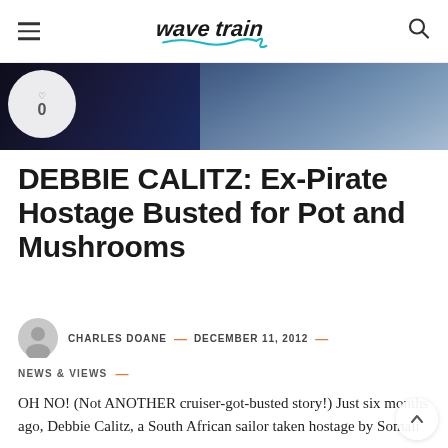WaveTrain — hamburger menu, logo, search icon
[Figure (photo): Dark moody sky/ocean hero image with white circle overlay showing '0']
DEBBIE CALITZ: Ex-Pirate Hostage Busted for Pot and Mushrooms
CHARLES DOANE — DECEMBER 11, 2012
NEWS & VIEWS —
OH NO! (Not ANOTHER cruiser-got-busted story!) Just six months ago, Debbie Calitz, a South African sailor taken hostage by Somali